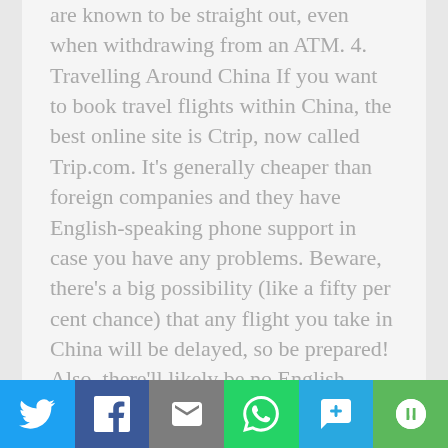are known to be straight out, even when withdrawing from an ATM. 4. Travelling Around China If you want to book travel flights within China, the best online site is Ctrip, now called Trip.com. It's generally cheaper than foreign companies and they have English-speaking phone support in case you have any problems. Beware, there's a big possibility (like a fifty per cent chance) that any flight you take in China will be delayed, so be prepared! Also, there'll likely be no English spoken on Chinese domestic carriers and the food tends to be a little dubious. Trains on the other hand, almost always run on time and are extremely speedy and efficient. China's
[Figure (other): Social sharing bar with Twitter, Facebook, Email, WhatsApp, SMS, and More buttons]